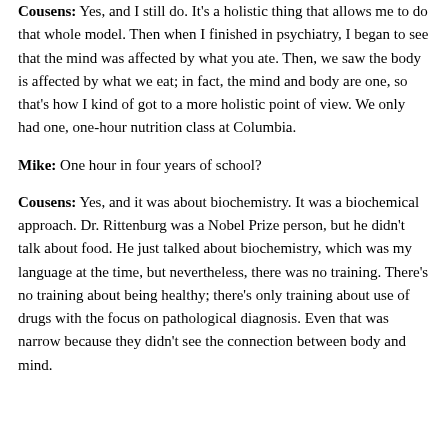Cousens: Yes, and I still do. It's a holistic thing that allows me to do that whole model. Then when I finished in psychiatry, I began to see that the mind was affected by what you ate. Then, we saw the body is affected by what we eat; in fact, the mind and body are one, so that's how I kind of got to a more holistic point of view. We only had one, one-hour nutrition class at Columbia.
Mike: One hour in four years of school?
Cousens: Yes, and it was about biochemistry. It was a biochemical approach. Dr. Rittenburg was a Nobel Prize person, but he didn't talk about food. He just talked about biochemistry, which was my language at the time, but nevertheless, there was no training. There's no training about being healthy; there's only training about use of drugs with the focus on pathological diagnosis. Even that was narrow because they didn't see the connection between body and mind.